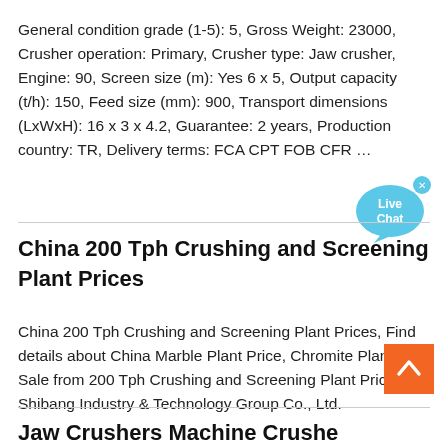General condition grade (1-5): 5, Gross Weight: 23000, Crusher operation: Primary, Crusher type: Jaw crusher, Engine: 90, Screen size (m): Yes 6 x 5, Output capacity (t/h): 150, Feed size (mm): 900, Transport dimensions (LxWxH): 16 x 3 x 4.2, Guarantee: 2 years, Production country: TR, Delivery terms: FCA CPT FOB CFR …
[Figure (other): Live Chat bubble icon in blue]
China 200 Tph Crushing and Screening Plant Prices
China 200 Tph Crushing and Screening Plant Prices, Find details about China Marble Plant Price, Chromite Plant for Sale from 200 Tph Crushing and Screening Plant Prices- Shibang Industry & Technology Group Co., Ltd.
[Figure (other): Back to top orange button with upward chevron arrow]
Jaw Crushers Machine Crushe...